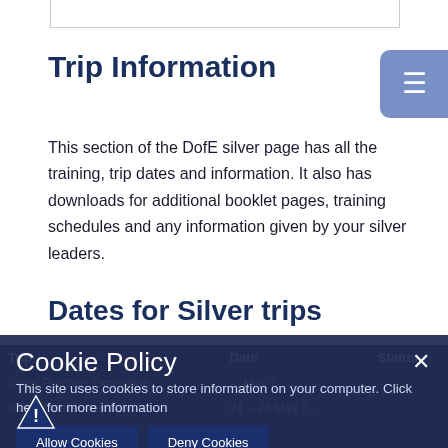Trip Information
This section of the DofE silver page has all the training, trip dates and information. It also has downloads for additional booklet pages, training schedules and any information given by your silver leaders.
Dates for Silver trips
| Trip | Date | Status |
| --- | --- | --- |
| Silver ... | ... May 2... |  |
| Silver Final Expedition | 21 - 24 May 2... |  |
Cookie Policy
This site uses cookies to store information on your computer. Click here for more information
Allow Cookies  Deny Cookies